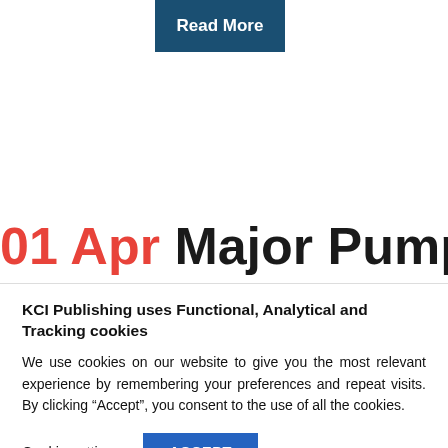[Figure (other): Blue 'Read More' button, dark navy background with white bold text]
01 Apr Major Pump
KCI Publishing uses Functional, Analytical and Tracking cookies
We use cookies on our website to give you the most relevant experience by remembering your preferences and repeat visits. By clicking “Accept”, you consent to the use of all the cookies.
Cookie settings
ACCEPT